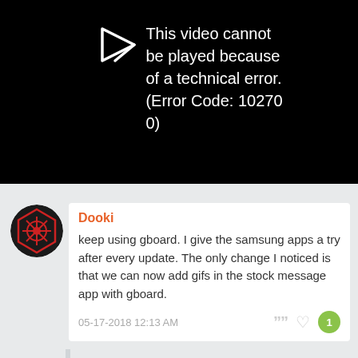[Figure (screenshot): Black video player area showing error message with a play/arrow icon on the left and white text reading: This video cannot be played because of a technical error. (Error Code: 102700)]
Dooki
keep using gboard. I give the samsung apps a try after every update. The only change I noticed is that we can now add gifs in the stock message app with gboard.
05-17-2018 12:13 AM